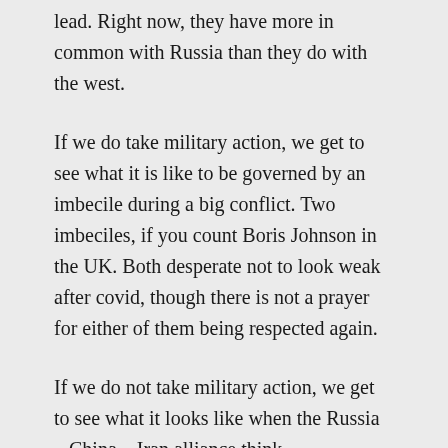lead. Right now, they have more in common with Russia than they do with the west.
If we do take military action, we get to see what it is like to be governed by an imbecile during a big conflict. Two imbeciles, if you count Boris Johnson in the UK. Both desperate not to look weak after covid, though there is not a prayer for either of them being respected again.
If we do not take military action, we get to see what it looks like when the Russia – China – Iran alliance think